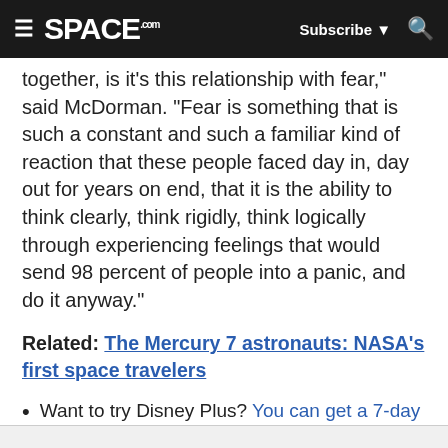SPACE.com | Subscribe | Search
together, is it's this relationship with fear," said McDorman. "Fear is something that is such a constant and such a familiar kind of reaction that these people faced day in, day out for years on end, that it is the ability to think clearly, think rigidly, think logically through experiencing feelings that would send 98 percent of people into a panic, and do it anyway."
Related: The Mercury 7 astronauts: NASA's first space travelers
Want to try Disney Plus? You can get a 7-day free trial here
Sign up for Disney Plus for $6.99/month